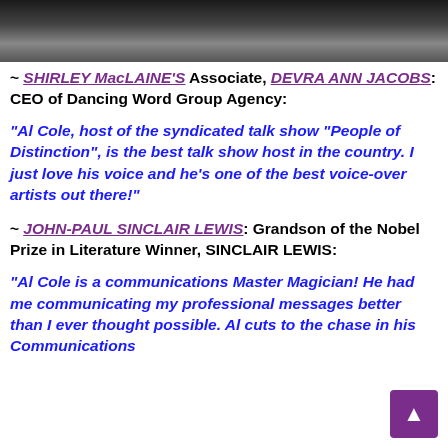[Figure (photo): Photo of people at top of page, dark/monochrome image cropped to show partial figures]
~ SHIRLEY MacLAINE'S Associate, DEVRA ANN JACOBS: CEO of Dancing Word Group Agency:
"Al Cole, host of the syndicated talk show "People of Distinction", is the best talk show host in the country. I just love his voice and he's one of the best voice-over artists out there!"
~ JOHN-PAUL SINCLAIR LEWIS: Grandson of the Nobel Prize in Literature Winner, SINCLAIR LEWIS:
"Al Cole is a communications Master Magician! He had me communicating my professional messages better than I ever thought possible. Al cuts to the chase in his Communications